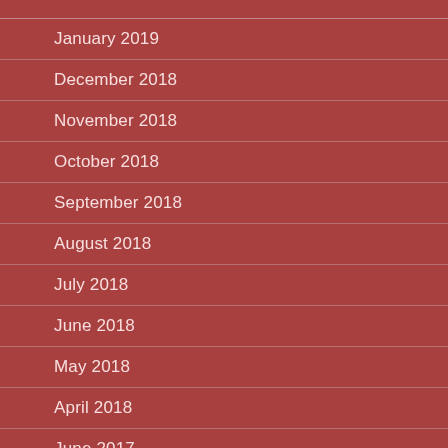January 2019
December 2018
November 2018
October 2018
September 2018
August 2018
July 2018
June 2018
May 2018
April 2018
June 2017